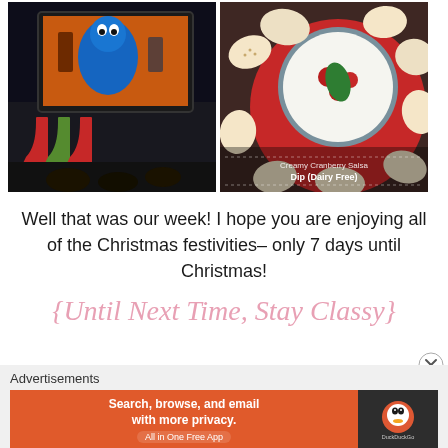[Figure (photo): Dark living room scene with people watching TV showing a blue Muppet/monster character, Christmas stockings visible on the wall]
[Figure (photo): Overhead view of a food dish - creamy cranberry jalapeño dip (dairy free) in a gray bowl surrounded by crackers and chips on a red plate]
Well that was our week! I hope you are enjoying all of the Christmas festivities– only 7 days until Christmas!
{Until Next Time, Stay Classy}
Advertisements
[Figure (screenshot): DuckDuckGo advertisement banner: 'Search, browse, and email with more privacy. All in One Free App' on orange background with DuckDuckGo logo on dark background]